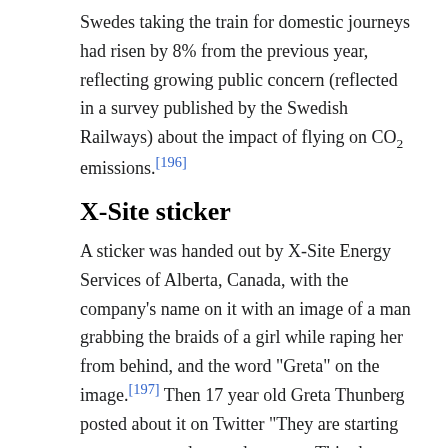Swedes taking the train for domestic journeys had risen by 8% from the previous year, reflecting growing public concern (reflected in a survey published by the Swedish Railways) about the impact of flying on CO₂ emissions.[196]
X-Site sticker
A sticker was handed out by X-Site Energy Services of Alberta, Canada, with the company's name on it with an image of a man grabbing the braids of a girl while raping her from behind, and the word "Greta" on the image.[197] Then 17 year old Greta Thunberg posted about it on Twitter "They are starting to get more and more desperate. This shows that we're winning." Although the general manager of X-Site initially said that neither X-Site, nor any X-Site employee, was involved in making the sticker,[198][199] X-Site Energy later apologized, admitting that they